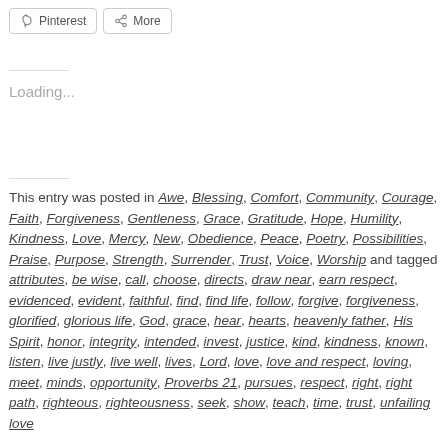[Figure (screenshot): Pinterest and More share buttons]
Loading...
This entry was posted in Awe, Blessing, Comfort, Community, Courage, Faith, Forgiveness, Gentleness, Grace, Gratitude, Hope, Humility, Kindness, Love, Mercy, New, Obedience, Peace, Poetry, Possibilities, Praise, Purpose, Strength, Surrender, Trust, Voice, Worship and tagged attributes, be wise, call, choose, directs, draw near, earn respect, evidenced, evident, faithful, find, find life, follow, forgive, forgiveness, glorified, glorious life, God, grace, hear, hearts, heavenly father, His Spirit, honor, integrity, intended, invest, justice, kind, kindness, known, listen, live justly, live well, lives, Lord, love, love and respect, loving, meet, minds, opportunity, Proverbs 21, pursues, respect, right, right path, righteous, righteousness, seek, show, teach, time, trust, unfailing love, ... Bookmark the permalink.